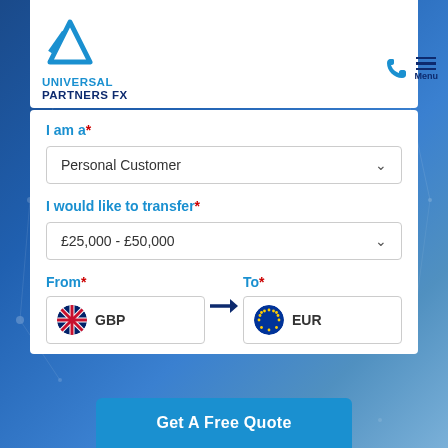[Figure (logo): Universal Partners FX logo with blue arrow/triangle icon and company name in blue text]
I am a*
Personal Customer
I would like to transfer*
£25,000 - £50,000
From*
GBP
To*
EUR
Get A Free Quote